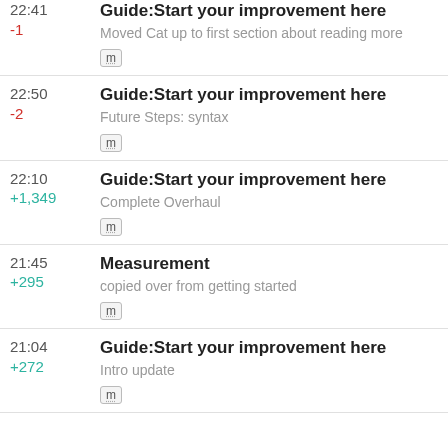22:41 Guide:Start your improvement here | -1 | Moved Cat up to first section about reading more | m
22:50 Guide:Start your improvement here | -2 | Future Steps: syntax | m
22:10 Guide:Start your improvement here | +1,349 | Complete Overhaul | m
21:45 Measurement | +295 | copied over from getting started | m
21:04 Guide:Start your improvement here | +272 | Intro update | m